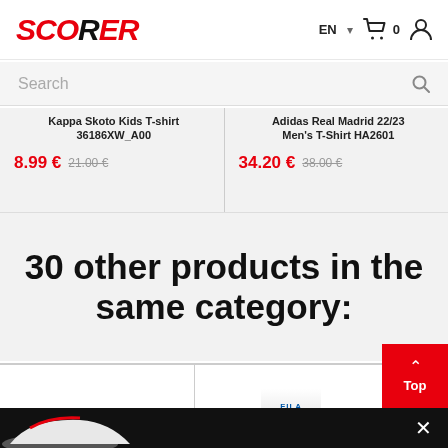SCORER — EN 0 (cart) (user icon)
Search
Kappa Skoto Kids T-shirt 36186XW_A00
8.99 € 21.00 €
Adidas Real Madrid 22/23 Men's T-Shirt HA2601
34.20 € 38.00 €
30 other products in the same category:
[Figure (other): Two partial product image columns at bottom with shoe photos visible]
× (close button)